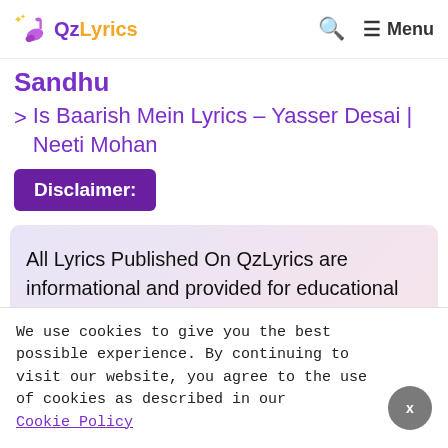QzLyrics — Menu
Sandhu
> Is Baarish Mein Lyrics – Yasser Desai | Neeti Mohan
Disclaimer:
All Lyrics Published On QzLyrics are informational and provided for educational purposes only. No
We use cookies to give you the best possible experience. By continuing to visit our website, you agree to the use of cookies as described in our Cookie Policy